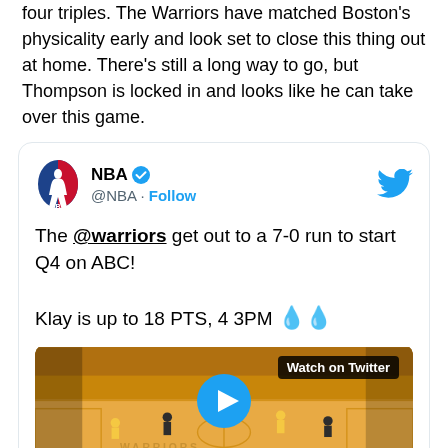four triples. The Warriors have matched Boston's physicality early and look set to close this thing out at home. There's still a long way to go, but Thompson is locked in and looks like he can take over this game.
[Figure (screenshot): Embedded tweet from @NBA with NBA logo, verified badge, Follow button, Twitter bird icon. Tweet text: 'The @warriors get out to a 7-0 run to start Q4 on ABC! Klay is up to 18 PTS, 4 3PM [droplet emojis]' with a video thumbnail of an NBA court scene showing 'Watch on Twitter' label and a play button.]